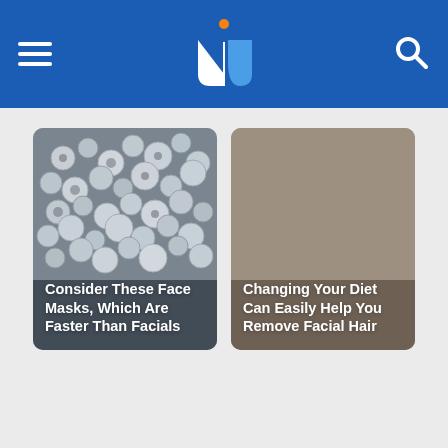UrbanClap / Lifestyle website header with logo, menu and search icons
[Figure (photo): Article card with photo of small grey/silver beads or seeds, with title overlay: Consider These Face Masks, Which Are Faster Than Facials]
Consider These Face Masks, Which Are Faster Than Facials
[Figure (photo): Article card with solid tan/brownish-grey background placeholder image, with title overlay: Changing Your Diet Can Easily Help You Remove Facial Hair]
Changing Your Diet Can Easily Help You Remove Facial Hair